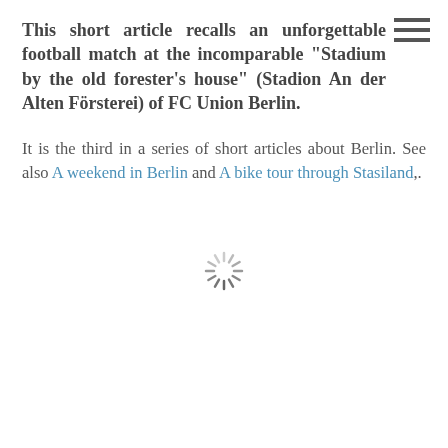This short article recalls an unforgettable football match at the incomparable "Stadium by the old forester's house" (Stadion An der Alten Försterei) of FC Union Berlin.
It is the third in a series of short articles about Berlin. See also A weekend in Berlin and A bike tour through Stasiland,.
[Figure (other): A loading spinner icon (radial/sunburst spinner) centered on the page]